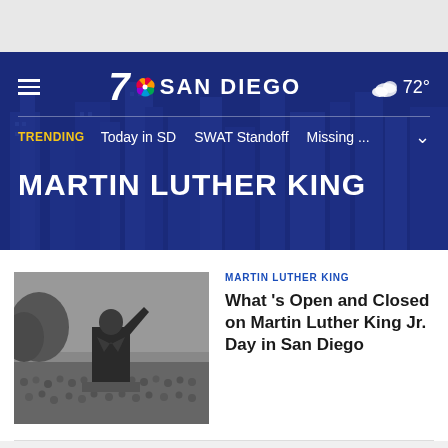7 NBC SAN DIEGO — TRENDING: Today in SD | SWAT Standoff | Missing... | 72°
MARTIN LUTHER KING
[Figure (photo): Black and white photo of Martin Luther King Jr. raising his hand to a large crowd]
MARTIN LUTHER KING
What 's Open and Closed on Martin Luther King Jr. Day in San Diego